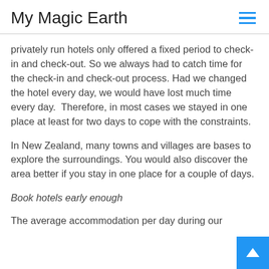My Magic Earth
privately run hotels only offered a fixed period to check-in and check-out. So we always had to catch time for the check-in and check-out process. Had we changed the hotel every day, we would have lost much time every day.  Therefore, in most cases we stayed in one place at least for two days to cope with the constraints.
In New Zealand, many towns and villages are bases to explore the surroundings. You would also discover the area better if you stay in one place for a couple of days.
Book hotels early enough
The average accommodation per day during our